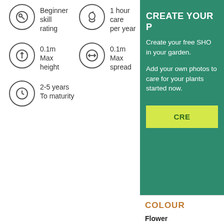Beginner skill rating
1 hour care per year
0.1m Max height
0.1m Max spread
2-5 years To maturity
CREATE YOUR P
Create your free SHO in your garden.
Add your own photos to care for your plants started now.
CRE
COLOUR
Flower
Pale-purple in Autumn; Pa
Foliage
Dark-green in Autumn; Da
HOW TO CARE